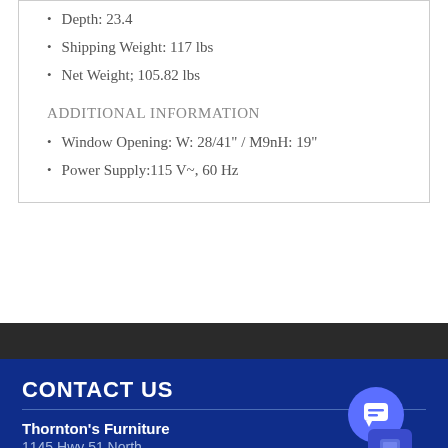Depth: 23.4
Shipping Weight: 117 lbs
Net Weight; 105.82 lbs
ADDITIONAL INFORMATION
Window Opening: W: 28/41" / M9nH: 19"
Power Supply:115 V~, 60 Hz
CONTACT US
Thornton's Furniture
1145 Hwy 51 North